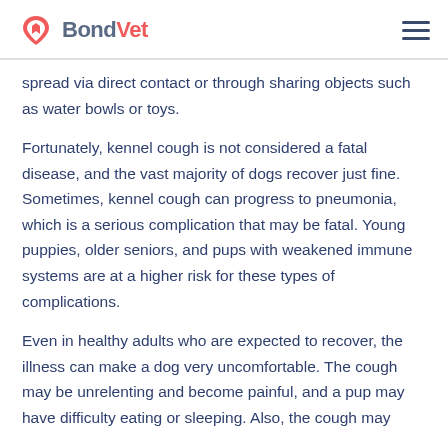BondVet
spread via direct contact or through sharing objects such as water bowls or toys.
Fortunately, kennel cough is not considered a fatal disease, and the vast majority of dogs recover just fine. Sometimes, kennel cough can progress to pneumonia, which is a serious complication that may be fatal. Young puppies, older seniors, and pups with weakened immune systems are at a higher risk for these types of complications.
Even in healthy adults who are expected to recover, the illness can make a dog very uncomfortable. The cough may be unrelenting and become painful, and a pup may have difficulty eating or sleeping. Also, the cough may